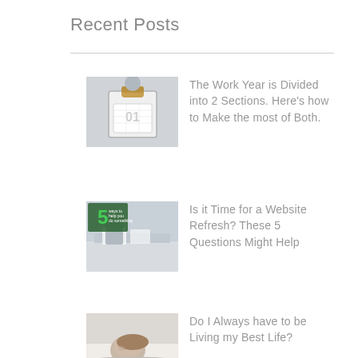Recent Posts
[Figure (photo): Person holding a clipboard with calendar showing number 01]
The Work Year is Divided into 2 Sections. Here's how to Make the most of Both.
[Figure (photo): Child sitting at desk with papers, green graphic with number 5 overlay]
Is it Time for a Website Refresh? These 5 Questions Might Help
[Figure (photo): Person sleeping or resting]
Do I Always have to be Living my Best Life?